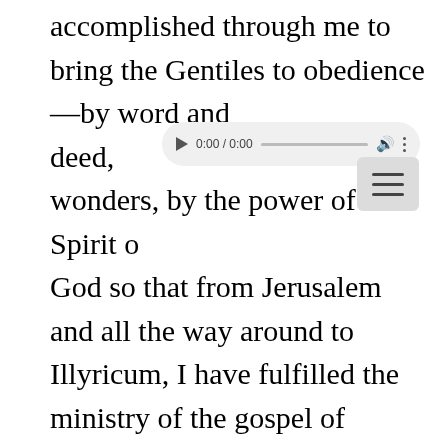accomplished through me to bring the Gentiles to obedience—by word and deed, wonders, by the power of the Spirit of God so that from Jerusalem and all the way around to Illyricum, I have fulfilled the ministry of the gospel of Christ; 20 and thus I make it my ambition to preach the gospel, not where Christ has already been named, lest I build on someone else's foundation, 21 but as it is written,
[Figure (screenshot): Audio player UI overlay showing play button, time 0:00 / 0:00, progress bar, volume icon, and vertical dots menu]
[Figure (screenshot): Hamburger/menu button overlay with three horizontal lines on a light gray rounded rectangle background]